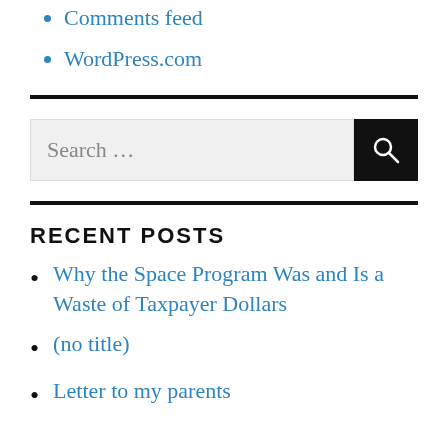Comments feed
WordPress.com
[Figure (other): Horizontal divider line]
[Figure (other): Search box with text 'Search ...' and a black search button]
[Figure (other): Horizontal divider line]
RECENT POSTS
Why the Space Program Was and Is a Waste of Taxpayer Dollars
(no title)
Letter to my parents